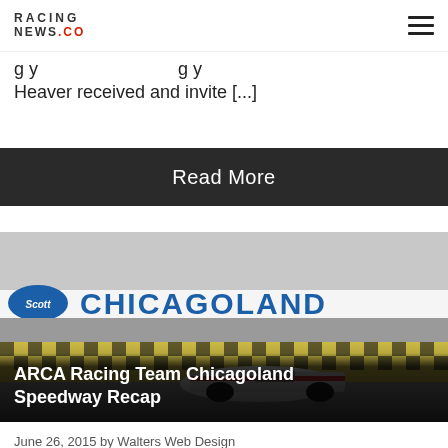RACING NEWS .CO
g y ... g y Heaver received and invite [...]
Read More
[Figure (photo): A race car crossing the finish line at Chicagoland Speedway, with the large 'CHICAGOLAND' sign visible in the background and a Scott brand oval logo on the left. Black and white checkered pattern on the track apron.]
ARCA Racing Team Chicagoland Speedway Recap
June 26, 2015 by Walters Web Design